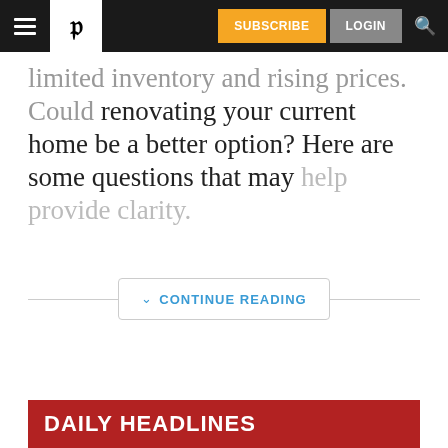P | SUBSCRIBE | LOGIN
limited inventory and rising prices. Could renovating your current home be a better option? Here are some questions that may help provide clarity.
CONTINUE READING
DAILY HEADLINES